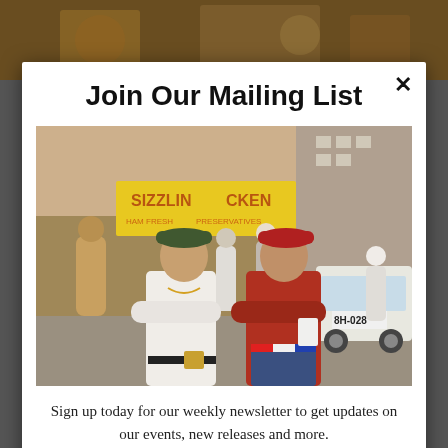[Figure (photo): Background photo showing a blurred restaurant/street scene with warm tones]
Join Our Mailing List
[Figure (photo): Street photograph of two young men with arms crossed wearing berets, standing on a city sidewalk in front of a Sizzlin Chicken restaurant sign. A white car with license plate 8H-028 is visible in the background.]
Sign up today for our weekly newsletter to get updates on our events, new releases and more.